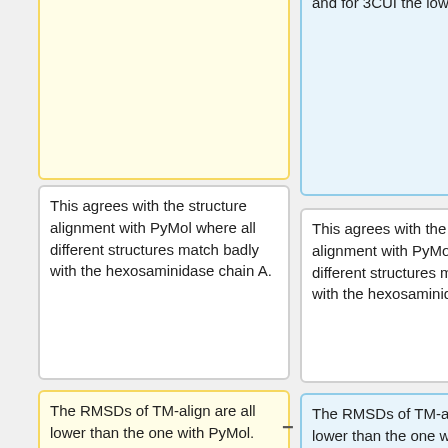the lowest.
that all RMSDs are very high. For 3BC9 we receive the highest one and for 3CUI the lowest.
This agrees with the structure alignment with PyMol where all different structures match badly with the hexosaminidase chain A.
This agrees with the structure alignment with PyMol where all different structures match badly with the hexosaminidase chain A.
The RMSDs of TM-align are all lower than the one with PyMol. Here, the scores are more equal, but the order is the same. 3BC9 delivers the worst RMSD and 3CUI the best one. The TM-score delivers the same result which
The RMSDs of TM-align are all lower than the one with PyMol. Here, the scores are more equal, but the order is the same. 3BC9 delivers the worst RMSD and 3CUI the best one. The TM-score delivers the same result which